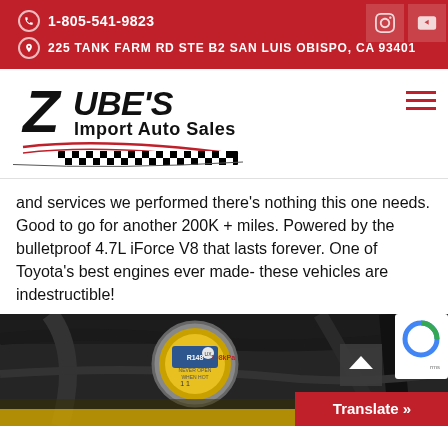1-805-541-9823 | 225 TANK FARM RD STE B2 SAN LUIS OBISPO, CA 93401
[Figure (logo): Zube's Import Auto Sales logo with checkered flag banner]
and services we performed there's nothing this one needs. Good to go for another 200K + miles. Powered by the bulletproof 4.7L iForce V8 that lasts forever. One of Toyota's best engines ever made- these vehicles are indestructible!
[Figure (photo): Close-up photo of a yellow radiator cap and engine bay cables]